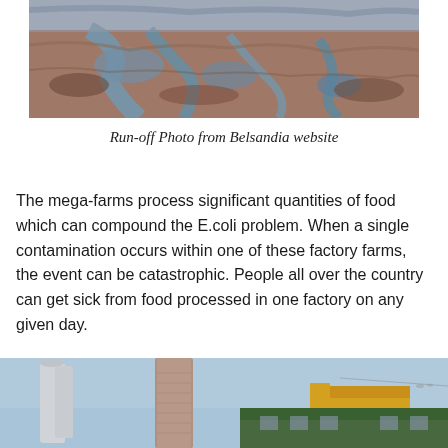[Figure (photo): Aerial photograph of agricultural run-off showing blue water channels cutting through reddish-brown dry terrain, from Belsandia website]
Run-off Photo from Belsandia website
The mega-farms process significant quantities of food which can compound the E.coli problem. When a single contamination occurs within one of these factory farms, the event can be catastrophic. People all over the country can get sick from food processed in one factory on any given day.
[Figure (photo): Ground-level photograph of industrial factory farm buildings showing tall silos, a brick chimney stack, and yellow industrial equipment against a blue sky]